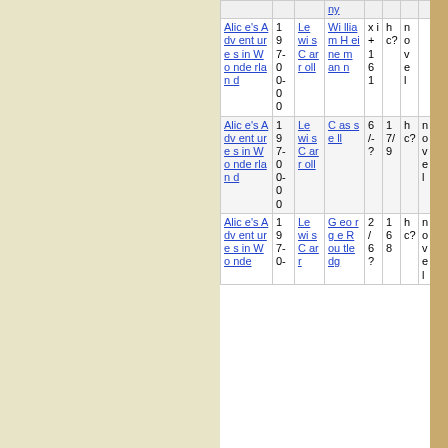| Title | Year | Author | Illustrator | x+161 | hc? | novel | 17/19h | Arthur Rackham |
| --- | --- | --- | --- | --- | --- | --- | --- | --- |
| Alice's Adventures in Wonderland | 1907-00 | Lewis Carroll | William Heinemann | x+161 | hc? | novel |  | Arthur Rackham |
| Alice's Adventures in Wonderland | 1907-00 | Lewis Carroll | Cassell | 6/-? | 17/19 | hc? | novel |  |
| Alice's Adventures in Wonderland | 1907-00 | Lewis Carroll | George Routledge | 2/6? | 168 | hc? | novel |  |